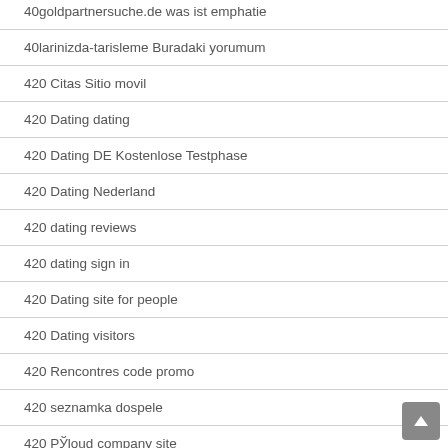40goldpartnersuche.de was ist emphatie
40larinizda-tarisleme Buradaki yorumum
420 Citas Sitio movil
420 Dating dating
420 Dating DE Kostenlose Testphase
420 Dating Nederland
420 dating reviews
420 dating sign in
420 Dating site for people
420 Dating visitors
420 Rencontres code promo
420 seznamka dospele
420 РЎloud company site